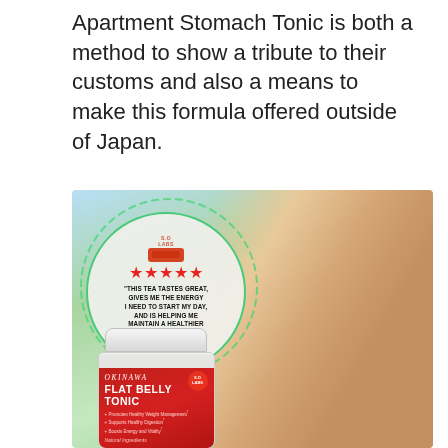Apartment Stomach Tonic is both a method to show a tribute to their customs and also a means to make this formula offered outside of Japan.
[Figure (photo): Advertisement image for Okinawa Flat Belly Tonic product showing a smiling woman drinking tea from a glass, a circular review badge with 5 stars and a customer quote reading 'This tea tastes great, gives me the energy I need to start my day, and is helping me maintain a healthier lifestyle!' - Verified Reviewer, and the Okinawa Flat Belly Tonic product jar with red label showing bullet points: Promotes Healthy Weight Management, Supports Healthy Digestion, Boosts Energy and Vitality, and Natural Ingredients.]